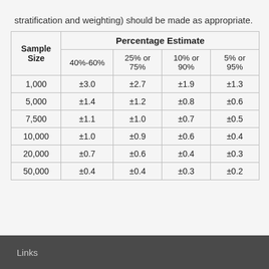stratification and weighting) should be made as appropriate.
| Sample Size | 40%-60% | 25% or 75% | 10% or 90% | 5% or 95% |
| --- | --- | --- | --- | --- |
| 1,000 | ±3.0 | ±2.7 | ±1.9 | ±1.3 |
| 5,000 | ±1.4 | ±1.2 | ±0.8 | ±0.6 |
| 7,500 | ±1.1 | ±1.0 | ±0.7 | ±0.5 |
| 10,000 | ±1.0 | ±0.9 | ±0.6 | ±0.4 |
| 20,000 | ±0.7 | ±0.6 | ±0.4 | ±0.3 |
| 50,000 | ±0.4 | ±0.4 | ±0.3 | ±0.2 |
Links